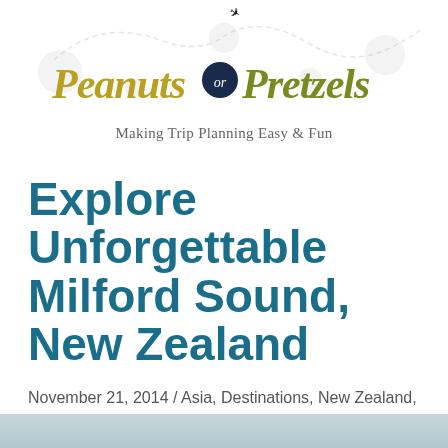[Figure (logo): Peanuts or Pretzels travel blog logo with script text in gold and olive green, a navy circle with 'or', dashed path outline with airplane silhouette, and tagline 'Making Trip Planning Easy & Fun']
Explore Unforgettable Milford Sound, New Zealand
November 21, 2014 / Asia, Destinations, New Zealand, RTW Adventure / By Liz